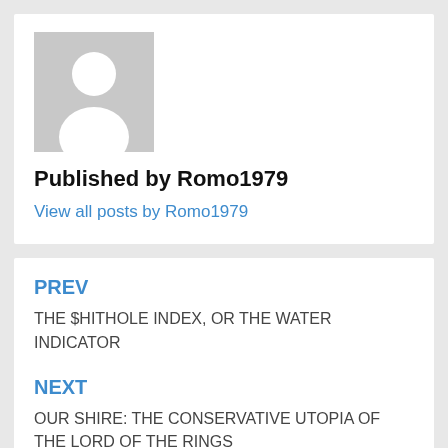[Figure (photo): Generic user avatar placeholder — grey square with white silhouette of a person]
Published by Romo1979
View all posts by Romo1979
PREV
THE $HITHOLE INDEX, OR THE WATER INDICATOR
NEXT
OUR SHIRE: THE CONSERVATIVE UTOPIA OF THE LORD OF THE RINGS